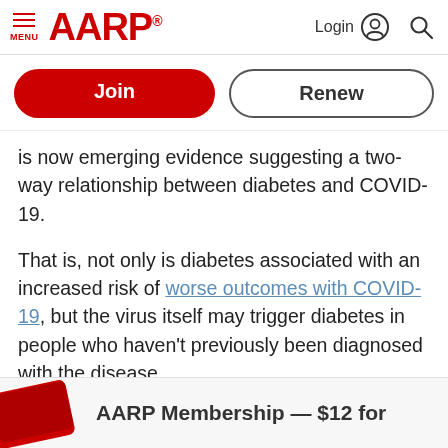MENU | AARP | Login | Search
[Figure (screenshot): AARP website header with logo, menu icon, Login button, and search icon]
Join
Renew
is now emerging evidence suggesting a two-way relationship between diabetes and COVID-19.
That is, not only is diabetes associated with an increased risk of worse outcomes with COVID-19, but the virus itself may trigger diabetes in people who haven't previously been diagnosed with the disease.
AARP Membership — $12 for